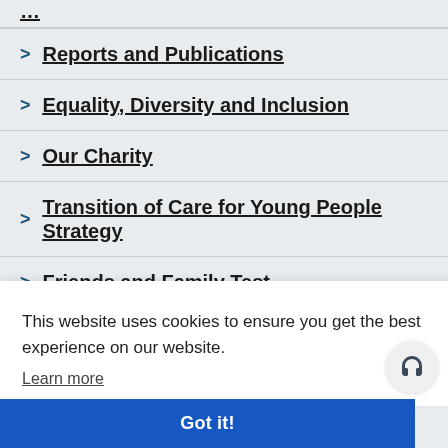Reports and Publications
Equality, Diversity and Inclusion
Our Charity
Transition of Care for Young People Strategy
Friends and Family Test
Other Departments
This website uses cookies to ensure you get the best experience on our website. Learn more
Got it!
Working in Laboratory Medicine